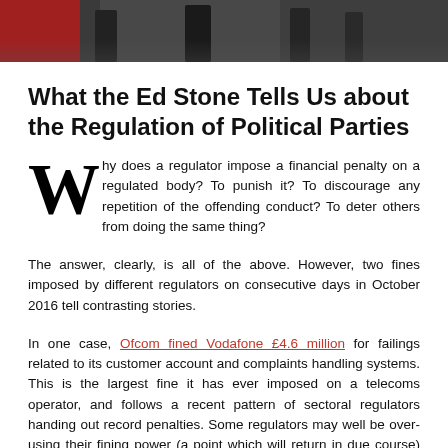[Figure (photo): Cropped photograph showing people standing, likely politicians or public figures, partial view of lower bodies and a red vehicle on the left]
What the Ed Stone Tells Us about the Regulation of Political Parties
Why does a regulator impose a financial penalty on a regulated body? To punish it? To discourage any repetition of the offending conduct? To deter others from doing the same thing?
The answer, clearly, is all of the above. However, two fines imposed by different regulators on consecutive days in October 2016 tell contrasting stories.
In one case, Ofcom fined Vodafone £4.6 million for failings related to its customer account and complaints handling systems. This is the largest fine it has ever imposed on a telecoms operator, and follows a recent pattern of sectoral regulators handing out record penalties. Some regulators may well be over-using their fining power (a point which will return in due course) but...